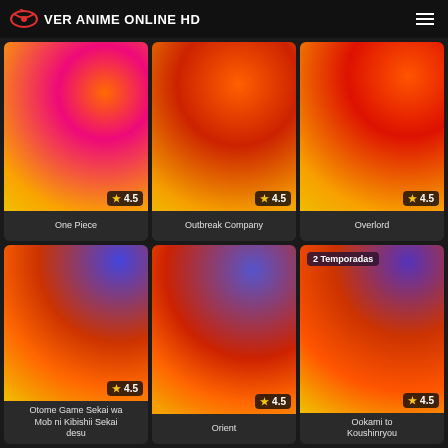VER ANIME ONLINE HD
[Figure (screenshot): Anime thumbnail gradient orange-red for One Piece, rating 4.5]
One Piece
[Figure (screenshot): Anime thumbnail gradient orange-red for Outbreak Company, rating 4.5]
Outbreak Company
[Figure (screenshot): Anime thumbnail gradient orange-red for Overlord, rating 4.5]
Overlord
[Figure (screenshot): Anime thumbnail gradient blue-orange-red for Otome Game Sekai wa Mob ni Kibishii Sekai desu, rating 4.5]
Otome Game Sekai wa Mob ni Kibishii Sekai desu
[Figure (screenshot): Anime thumbnail gradient blue-orange-red for Orient, rating 4.5]
Orient
[Figure (screenshot): Anime thumbnail gradient blue-orange-red for Ookami to Koushinryou, rating 4.5, badge: 2 Temporadas]
Ookami to Koushinryou